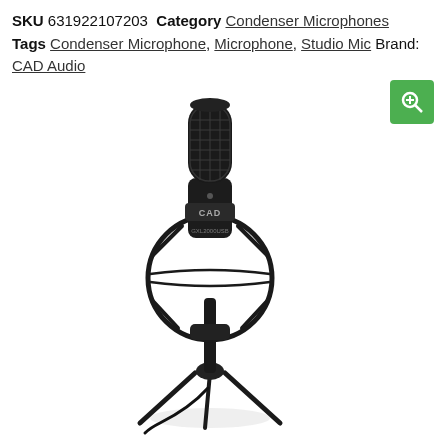SKU 631922107203  Category Condenser Microphones  Tags Condenser Microphone, Microphone, Studio Mic Brand: CAD Audio
[Figure (photo): A black CAD Audio GXL2000USB condenser microphone mounted in a shock mount on a tripod desktop stand, photographed against a white background.]